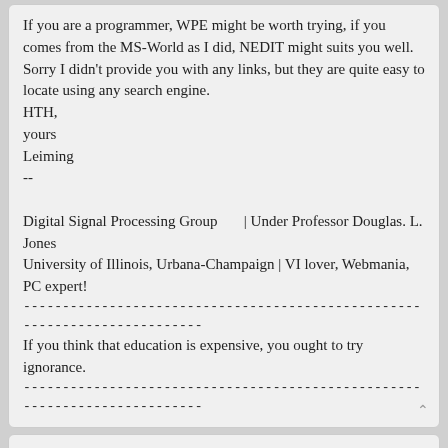If you are a programmer, WPE might be worth trying, if you comes from the MS-World as I did, NEDIT might suits you well. Sorry I didn't provide you with any links, but they are quite easy to locate using any search engine.
HTH,
yours
Leiming
--

Digital Signal Processing Group        | Under Professor Douglas. L. Jones
University of Illinois, Urbana-Champaign | VI lover, Webmania, PC expert!
--------------------------------------------------------------------------
If you think that education is expensive, you ought to try ignorance.
--------------------------------------------------------------------------
Best file editor
by Victor Wagn » Tue, 20 Jan 1998 04:00:00
: I am fairly new to linux, and am just starting to edit my system files.  I
: was wondering what program long time users feel is the best.  I have tried
: Pico and Emacs, but they dont seem that great.  Any opinions?
Emacs is one of two GREAT editors for Unix. But, unfortunately,
one almost unable to use it if it was not one's first editor.